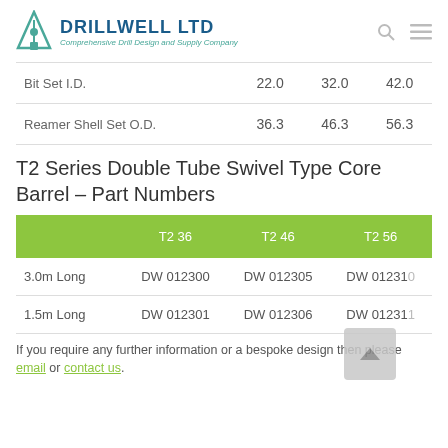Drillwell Ltd – Comprehensive Drill Design and Supply Company
|  | 22.0 | 32.0 | 42.0 |
| --- | --- | --- | --- |
| Bit Set I.D. | 22.0 | 32.0 | 42.0 |
| Reamer Shell Set O.D. | 36.3 | 46.3 | 56.3 |
T2 Series Double Tube Swivel Type Core Barrel – Part Numbers
|  | T2 36 | T2 46 | T2 56 |
| --- | --- | --- | --- |
| 3.0m Long | DW 012300 | DW 012305 | DW 012310 |
| 1.5m Long | DW 012301 | DW 012306 | DW 012311 |
If you require any further information or a bespoke design then please email or contact us.